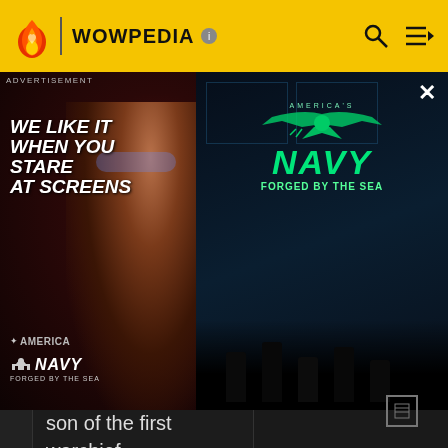WOWPEDIA
[Figure (screenshot): Advertisement banner for America's Navy 'Forged by the Sea' campaign. Left side shows a woman with glasses in dark red lighting with white text 'WE LIKE IT WHEN YOU STARE AT SCREENS' and America's Navy logo. Right side shows a video frame with teal/green America's Navy logo and 'FORGED BY THE SEA' text over a dark naval command center scene.]
son of the first warchief, brought the remnants of his clan to Blackrock Spire and fought the Dark Iron dwarves for possession of the stronghold. Rend allied his orcs with Nefarian and the black dragonflight, who routed the dwarves and expelled them from